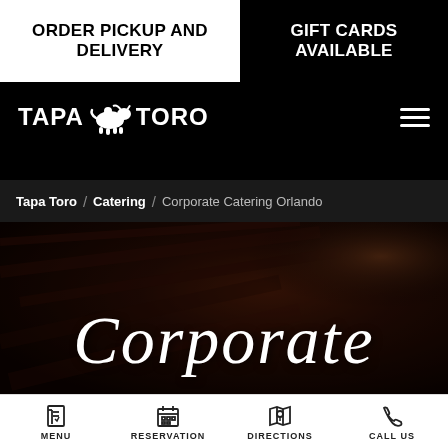ORDER PICKUP AND DELIVERY
GIFT CARDS AVAILABLE
[Figure (logo): Tapa Toro restaurant logo with bull icon in white on black background]
Tapa Toro / Catering / Corporate Catering Orlando
[Figure (photo): Dark hero image with food, overlaid with cursive script text reading 'Corporate']
Corporate
MENU | RESERVATION | DIRECTIONS | CALL US